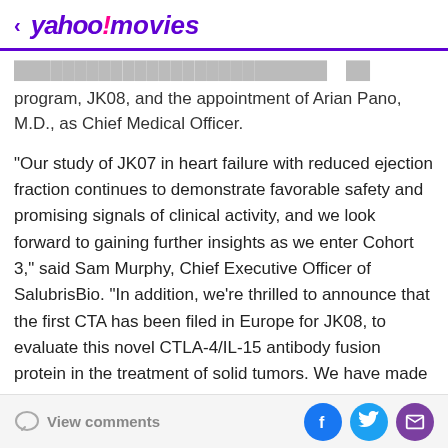< yahoo!movies
program, JK08, and the appointment of Arian Pano, M.D., as Chief Medical Officer.
"Our study of JK07 in heart failure with reduced ejection fraction continues to demonstrate favorable safety and promising signals of clinical activity, and we look forward to gaining further insights as we enter Cohort 3," said Sam Murphy, Chief Executive Officer of SalubrisBio. "In addition, we're thrilled to announce that the first CTA has been filed in Europe for JK08, to evaluate this novel CTLA-4/IL-15 antibody fusion protein in the treatment of solid tumors. We have made considerable progress this year across our pipeline and remain laser-focused on
View comments